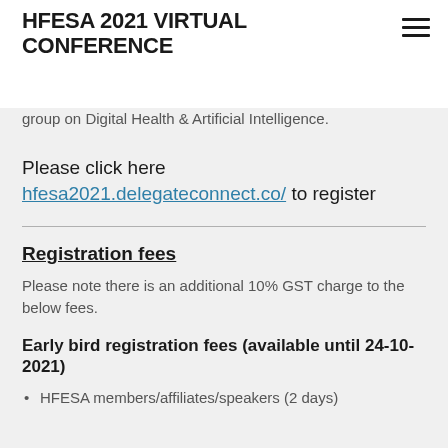HFESA 2021 VIRTUAL CONFERENCE
group on Digital Health & Artificial Intelligence.
Please click here hfesa2021.delegateconnect.co/ to register
Registration fees
Please note there is an additional 10% GST charge to the below fees.
Early bird registration fees (available until 24-10-2021)
HFESA members/affiliates/speakers (2 days)